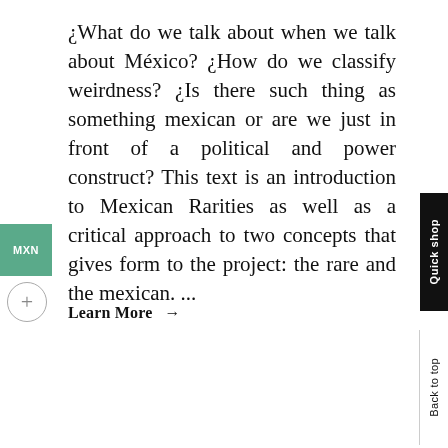¿What do we talk about when we talk about México? ¿How do we classify weirdness? ¿Is there such thing as something mexican or are we just in front of a political and power construct? This text is an introduction to Mexican Rarities as well as a critical approach to two concepts that gives form to the project: the rare and the mexican. ...
Learn More →